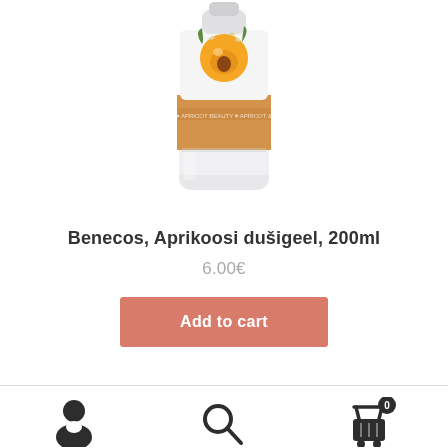[Figure (photo): Product photo of Benecos Aprikoosi shower gel tube (200ml) with apricot imagery on white background]
Benecos, Aprikoosi dušigeel, 200ml
6.00€
Add to cart
[Figure (infographic): Bottom navigation bar with user/account icon, search icon, and shopping cart icon with badge showing 0]